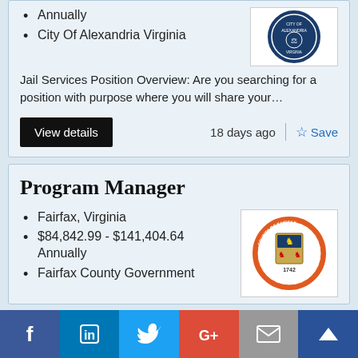Annually
City Of Alexandria Virginia
Jail Services Position Overview: Are you searching for a position with purpose where you will share your…
View details
18 days ago
Save
[Figure (logo): City of Alexandria Virginia seal/logo]
Program Manager
Fairfax, Virginia
$84,842.99 - $141,404.64 Annually
Fairfax County Government
[Figure (logo): Fairfax County Government seal, circular orange border with coat of arms, dated 1742]
[Figure (infographic): Social media sharing bar with Facebook, LinkedIn, Twitter, Google+, Email, and crown/bookmark icons]